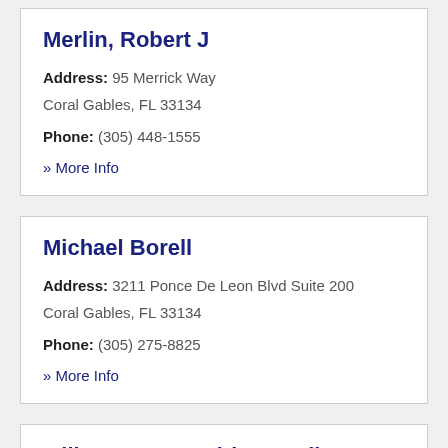Merlin, Robert J
Address: 95 Merrick Way
Coral Gables, FL 33134
Phone: (305) 448-1555
» More Info
Michael Borell
Address: 3211 Ponce De Leon Blvd Suite 200
Coral Gables, FL 33134
Phone: (305) 275-8825
» More Info
Miller Kagan Rodriguez Silver
Address: 201 Alhambra Cir Suite 802